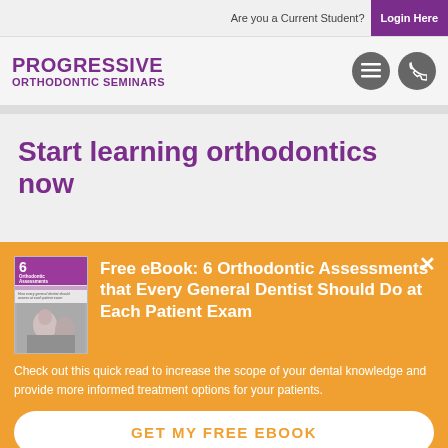Are you a Current Student?  Login Here
[Figure (logo): Progressive Orthodontic Seminars logo with hamburger menu icon and phone icon]
Start learning orthodontics now
Free eBook: 6 Orthodontic Assessments that Every General Dentist Should Do at Each Patient Exam
Check out this quick read to increase the scope of your dental knowledge and provide more informed treatment options for your patients.
GET MY FREE EBOOK